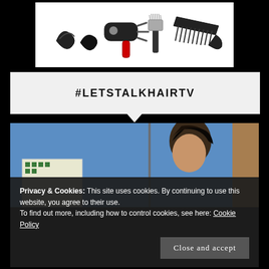[Figure (photo): Hair styling tools on white background: hair clips, blow dryer, brush, and large comb]
#LETSTALKHAIRTV
[Figure (screenshot): Video screenshot of a woman with sleek straight hair in a TV studio setting with blue sky and building visible in background]
Privacy & Cookies: This site uses cookies. By continuing to use this website, you agree to their use.
To find out more, including how to control cookies, see here: Cookie Policy
Close and accept